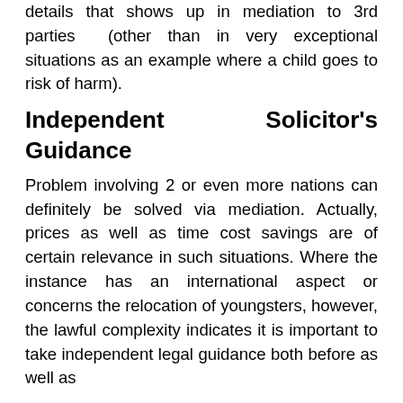details that shows up in mediation to 3rd parties (other than in very exceptional situations as an example where a child goes to risk of harm).
Independent Solicitor's Guidance
Problem involving 2 or even more nations can definitely be solved via mediation. Actually, prices as well as time cost savings are of certain relevance in such situations. Where the instance has an international aspect or concerns the relocation of youngsters, however, the lawful complexity indicates it is important to take independent legal guidance both before as well as during the mediation.